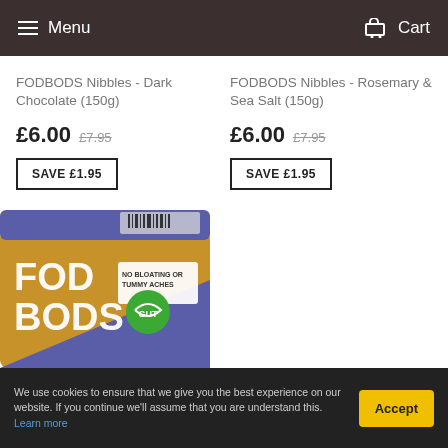Menu  Cart
FODBODS Nibbles - Dark Chocolate (150g)
£6.00  £7.95
SAVE £1.95
FODBODS Nibbles - Rosemary & Sea Salt (150g)
£6.00  £7.95
SAVE £1.95
[Figure (photo): FODBODS product box, cardboard and purple packaging, with 'FOD BODS' branding and a green circular logo reading 'No Bloating or Tummy Aches']
We use cookies to ensure that we give you the best experience on our website. If you continue we'll assume that you are understand this. Learn more